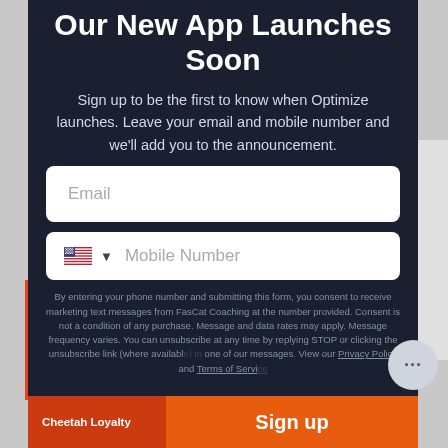Our New App Launches Soon
Sign up to be the first to know when Optimize launches. Leave your email and mobile number and we'll add you to the announcement.
Email (input field)
Mobile Number (input field with US flag)
By entering your phone number and submitting this form, you consent to receive marketing text messages from FasCat Coaching at the number provided. Consent is not a condition of any purchase. Message and data rates may apply. Message frequency varies. You can unsubscribe at any time by replying STOP or clicking the unsubscribe link (where available) in one of our messages. View our Privacy Policy and Terms of Service.
Cheetah Loyalty
Sign up